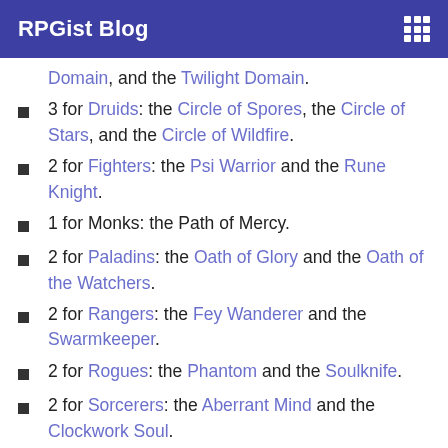RPGist Blog
Domain, and the Twilight Domain.
3 for Druids: the Circle of Spores, the Circle of Stars, and the Circle of Wildfire.
2 for Fighters: the Psi Warrior and the Rune Knight.
1 for Monks: the Path of Mercy.
2 for Paladins: the Oath of Glory and the Oath of the Watchers.
2 for Rangers: the Fey Wanderer and the Swarmkeeper.
2 for Rogues: the Phantom and the Soulknife.
2 for Sorcerers: the Aberrant Mind and the Clockwork Soul.
2 for Warlocks: The Fathomless, and The Genie with its 4 variations, Dao, Djinni, Efreeti,